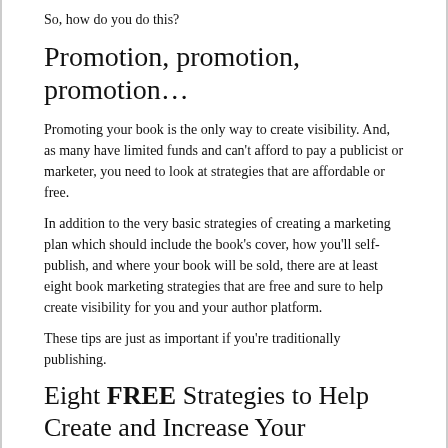So, how do you do this?
Promotion, promotion, promotion…
Promoting your book is the only way to create visibility. And, as many have limited funds and can't afford to pay a publicist or marketer, you need to look at strategies that are affordable or free.
In addition to the very basic strategies of creating a marketing plan which should include the book's cover, how you'll self-publish, and where your book will be sold, there are at least eight book marketing strategies that are free and sure to help create visibility for you and your author platform.
These tips are just as important if you're traditionally publishing.
Eight FREE Strategies to Help Create and Increase Your Visibility